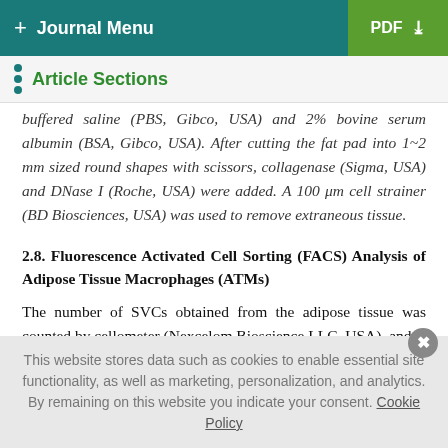+ Journal Menu   PDF ↓
Article Sections
buffered saline (PBS, Gibco, USA) and 2% bovine serum albumin (BSA, Gibco, USA). After cutting the fat pad into 1~2 mm sized round shapes with scissors, collagenase (Sigma, USA) and DNase I (Roche, USA) were added. A 100 μm cell strainer (BD Biosciences, USA) was used to remove extraneous tissue.
2.8. Fluorescence Activated Cell Sorting (FACS) Analysis of Adipose Tissue Macrophages (ATMs)
The number of SVCs obtained from the adipose tissue was counted by cellometer (Nexcelom Bioscience LLC, USA), and
This website stores data such as cookies to enable essential site functionality, as well as marketing, personalization, and analytics. By remaining on this website you indicate your consent. Cookie Policy